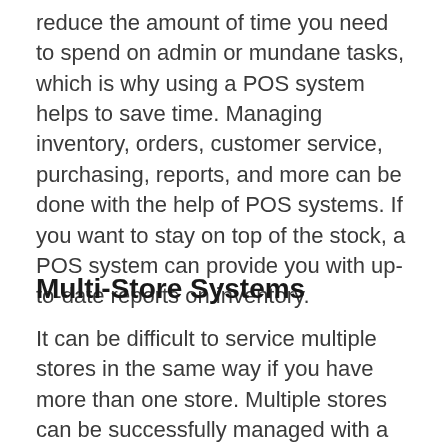reduce the amount of time you need to spend on admin or mundane tasks, which is why using a POS system helps to save time. Managing inventory, orders, customer service, purchasing, reports, and more can be done with the help of POS systems. If you want to stay on top of the stock, a POS system can provide you with up-to-date reports on inventory.
Multi-Store Systems
It can be difficult to service multiple stores in the same way if you have more than one store. Multiple stores can be successfully managed with a POS system. The same level of service, efficiency, and the same...